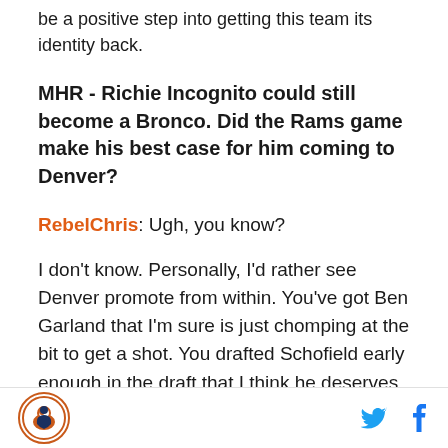be a positive step into getting this team its identity back.
MHR - Richie Incognito could still become a Bronco. Did the Rams game make his best case for him coming to Denver?
RebelChris: Ugh, you know?
I don't know. Personally, I'd rather see Denver promote from within. You've got Ben Garland that I'm sure is just chomping at the bit to get a shot. You drafted Schofield early enough in the draft that I think he deserves a shot as well. I think before you even look to bringing in outside help, at this stage in the season, you owe it to
Logo and social share icons